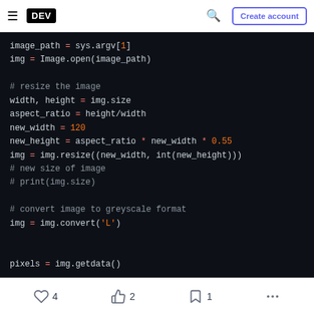DEV — Create account
[Figure (screenshot): Code editor screenshot showing Python image processing code on dark background]
4  2  1  ...